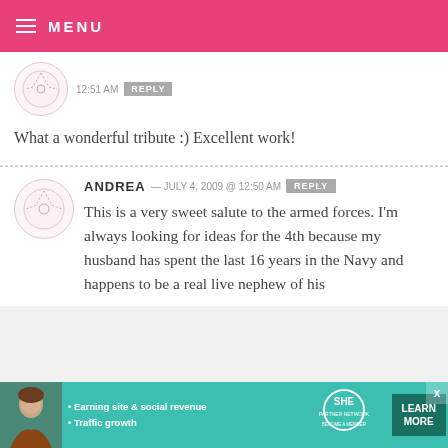MENU
12:51 AM  REPLY
What a wonderful tribute :) Excellent work!
ANDREA — JULY 4, 2009 @ 12:50 AM  REPLY
This is a very sweet salute to the armed forces. I'm always looking for ideas for the 4th because my husband has spent the last 16 years in the Navy and happens to be a real live nephew of his
[Figure (infographic): Advertisement banner for SHE Partner Network with bullet points: Earning site & social revenue, Traffic growth. Includes LEARN MORE button.]